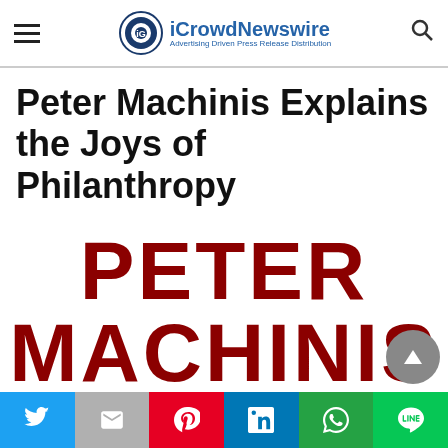iCrowdNewswire — Advertising Driven Press Release Distribution
Peter Machinis Explains the Joys of Philanthropy
[Figure (illustration): Large bold dark red text reading PETER MACHINIS as a graphic image/logo, partially cropped at bottom]
Social share bar: Twitter, Gmail, Pinterest, LinkedIn, WhatsApp, LINE